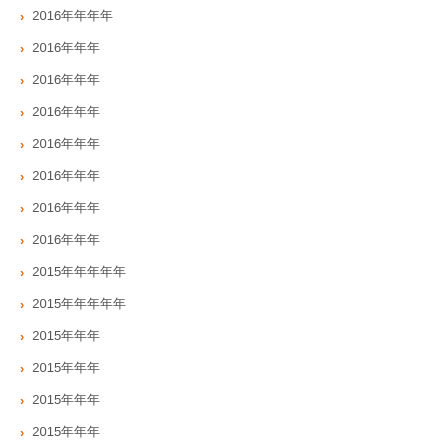2016年年年年
2016年年年
2016年年年
2016年年年
2016年年年
2016年年年
2016年年年
2016年年年
2015年年年年年
2015年年年年年
2015年年年
2015年年年
2015年年年
2015年年年
年年年年
1.Java年年
2.年年年年年